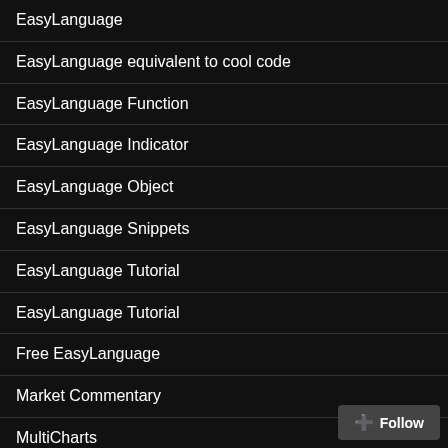EasyLanguage
EasyLanguage equivalent to cool code
EasyLanguage Function
EasyLanguage Indicator
EasyLanguage Object
EasyLanguage Snippets
EasyLanguage Tutorial
EasyLanguage Tutorial
Free EasyLanguage
Market Commentary
MultiCharts
Must Know